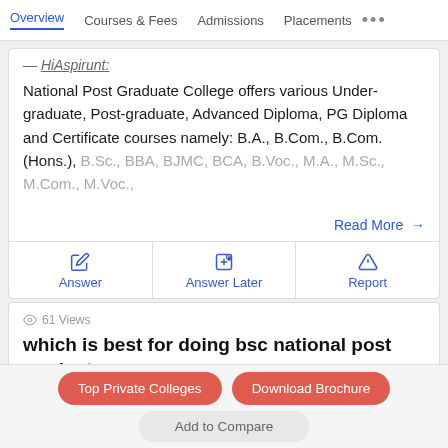Overview | Courses & Fees | Admissions | Placements ...
HiAspirunt:
National Post Graduate College offers various Undergraduate, Post-graduate, Advanced Diploma, PG Diploma and Certificate courses namely: B.A., B.Com., B.Com. (Hons.), B.Sc., BBA, BJMC, BCA, B.Voc., M.A., M.Sc., M.Com., M.Voc.,
Read More →
Answer | Answer Later | Report
61 Views
which is best for doing bsc national post graduate
Top Private Colleges | Download Brochure | Add to Compare